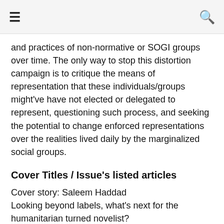≡  🔍
and practices of non-normative or SOGI groups over time. The only way to stop this distortion campaign is to critique the means of representation that these individuals/groups might've have not elected or delegated to represent, questioning such process, and seeking the potential to change enforced representations over the realities lived daily by the marginalized social groups.
Cover Titles / Issue's listed articles
Cover story: Saleem Haddad
Looking beyond labels, what's next for the humanitarian turned novelist?
The Representation Myth